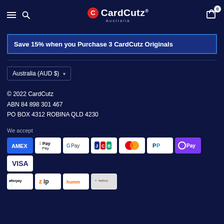CardCutz Australia - navigation header with menu, search, logo, and cart
Save 15% when you Purchase 3 CardCutz Originals
Australia (AUD $)
© 2022 CardCutz
ABN 84 898 301 467
PO BOX 4312 ROBINA QLD 4230
We accept
[Figure (other): Payment method icons: American Express, Apple Pay, Google Pay, JCB, Mastercard, PayPal, OPay, Visa, Afterpay, Zip, Humm, Laybuy]